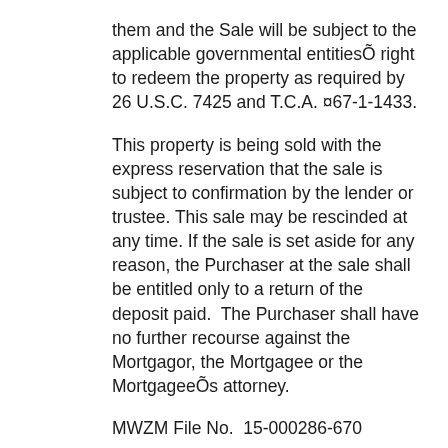them and the Sale will be subject to the applicable governmental entitiesÕ right to redeem the property as required by 26 U.S.C. 7425 and T.C.A. ¤67-1-1433.
This property is being sold with the express reservation that the sale is subject to confirmation by the lender or trustee. This sale may be rescinded at any time. If the sale is set aside for any reason, the Purchaser at the sale shall be entitled only to a return of the deposit paid.  The Purchaser shall have no further recourse against the Mortgagor, the Mortgagee or the MortgageeÕs attorney.
MWZM File No.  15-000286-670
JASON S. MANGRUM, J.P. SELLERS, LORI LIANE LONG, Substitute Trustee(s)